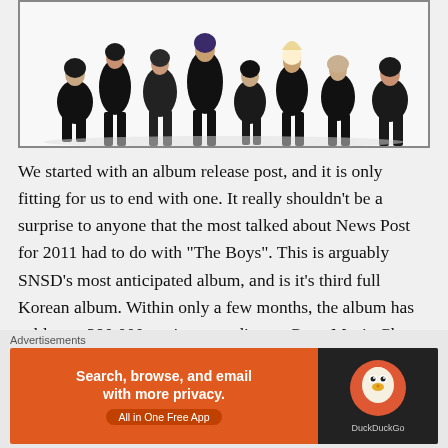[Figure (photo): Group photo of multiple women dressed in black outfits posing together against a white background]
We started with an album release post, and it is only fitting for us to end with one. It really shouldn't be a surprise to anyone that the most talked about News Post for 2011 had to do with “The Boys”. This is arguably SNSD’s most anticipated album, and is it’s third full Korean album. Within only a few months, the album has sold over 290,000 copies according to Gaon Music Chart Korea. These impressive sales numbers coupled with
[Figure (screenshot): DuckDuckGo advertisement banner: orange background with text 'Search, browse, and email with more privacy. All in One Free App' and DuckDuckGo logo on dark right panel]